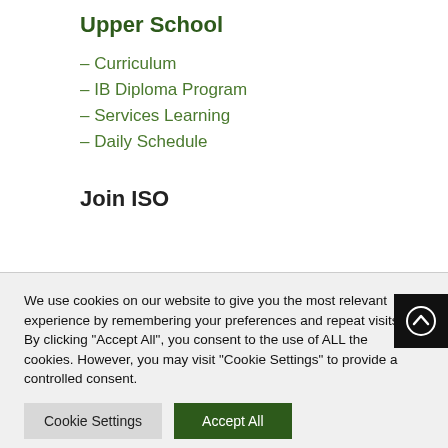Upper School
– Curriculum
– IB Diploma Program
– Services Learning
– Daily Schedule
Join ISO
We use cookies on our website to give you the most relevant experience by remembering your preferences and repeat visits. By clicking "Accept All", you consent to the use of ALL the cookies. However, you may visit "Cookie Settings" to provide a controlled consent.